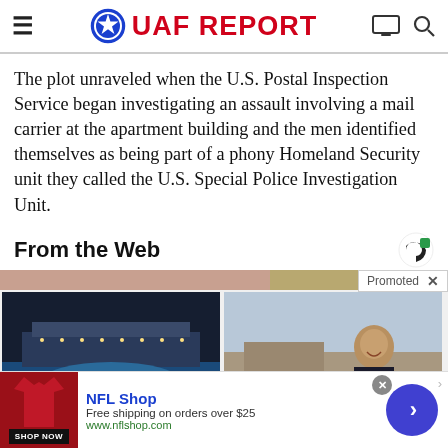UAF REPORT
The plot unraveled when the U.S. Postal Inspection Service began investigating an assault involving a mail carrier at the apartment building and the men identified themselves as being part of a phony Homeland Security unit they called the U.S. Special Police Investigation Unit.
From the Web
[Figure (photo): Promoted content strip with cruise ship image and person image thumbnails]
[Figure (infographic): NFL Shop advertisement banner with shop now button]